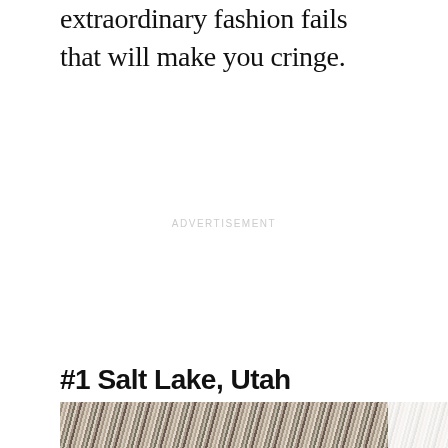extraordinary fashion fails that will make you cringe.
ADVERTISEMENT
#1 Salt Lake, Utah
[Figure (photo): Bottom strip showing a textured fabric or clothing item with diagonal stripe patterns in beige, tan, grey, and black tones.]